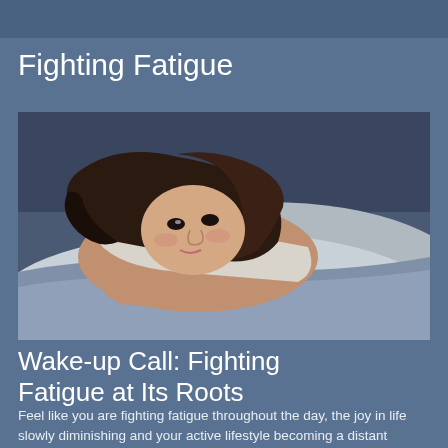Fighting Fatigue
[Figure (photo): A young woman with long brown hair lying on a pillow, appearing tired or fatigued, resting her head and looking toward the camera]
Wake-up Call: Fighting Fatigue at Its Roots
Feel like you are fighting fatigue throughout the day, the joy in life slowly diminishing and your active lifestyle becoming a distant memory? Are these ordinary signs of aging?